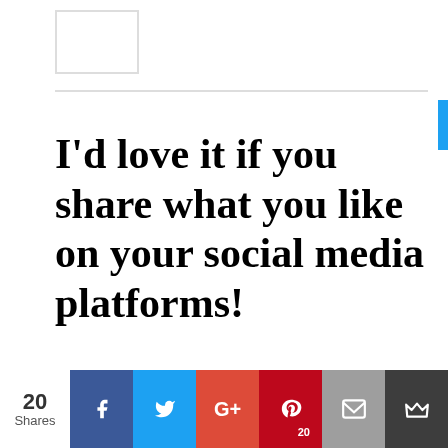[Figure (screenshot): Logo placeholder box in page header area]
I'd love it if you share what you like on your social media platforms!
[Figure (infographic): Social media share buttons: Facebook, Pinterest (20), Twitter, LinkedIn, WhatsApp, Tumblr, Reddit, Email, More]
[Figure (infographic): Bottom share bar showing 20 Shares with Facebook, Twitter, Google+, Pinterest (20), Email, and crown/bookmark buttons]